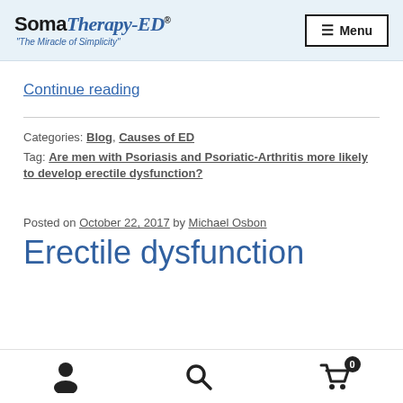SomaTherapy-ED® "The Miracle of Simplicity" Menu
Continue reading
Categories: Blog, Causes of ED
Tag: Are men with Psoriasis and Psoriatic-Arthritis more likely to develop erectile dysfunction?
Posted on October 22, 2017 by Michael Osbon
Erectile dysfunction